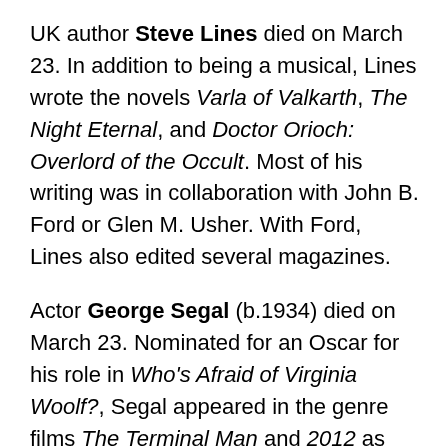UK author Steve Lines died on March 23. In addition to being a musical, Lines wrote the novels Varla of Valkarth, The Night Eternal, and Doctor Orioch: Overlord of the Occult. Most of his writing was in collaboration with John B. Ford or Glen M. Usher. With Ford, Lines also edited several magazines.
Actor George Segal (b.1934) died on March 23. Nominated for an Oscar for his role in Who's Afraid of Virginia Woolf?, Segal appeared in the genre films The Terminal Man and 2012 as well as episodes of Pushing Daisies and Jonny Quest.
Actor Craig Grant (b.1968) died on March 24. Grant appeared in the films A Northern Star, Dark Water, and